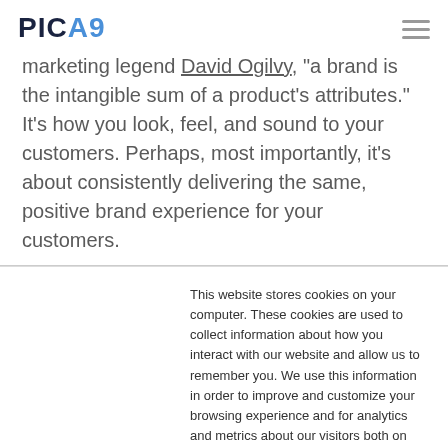PICA9
marketing legend David Ogilvy, "a brand is the intangible sum of a product's attributes." It's how you look, feel, and sound to your customers. Perhaps, most importantly, it's about consistently delivering the same, positive brand experience for your customers.
This website stores cookies on your computer. These cookies are used to collect information about how you interact with our website and allow us to remember you. We use this information in order to improve and customize your browsing experience and for analytics and metrics about our visitors both on this website and other media. To find out more about the cookies we use, see our Privacy Policy.